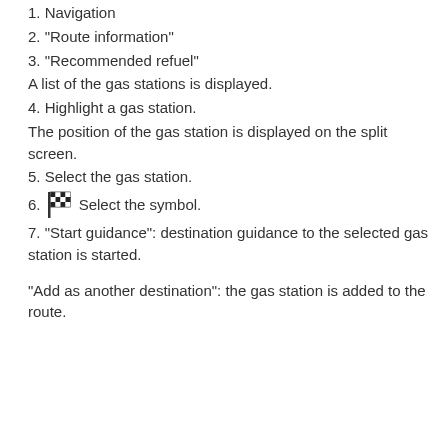1. Navigation
2. "Route information"
3. "Recommended refuel"
A list of the gas stations is displayed.
4. Highlight a gas station.
The position of the gas station is displayed on the split screen.
5. Select the gas station.
6. [checkered flag icon] Select the symbol.
7. "Start guidance": destination guidance to the selected gas station is started.
"Add as another destination": the gas station is added to the route.